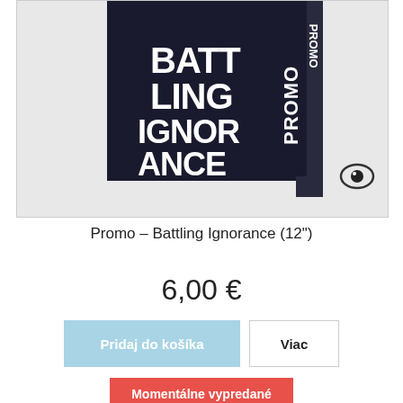[Figure (photo): Product photo of Promo – Battling Ignorance 12-inch vinyl record showing dark cover with bold white text reading BATTLING IGNORANCE and a vertical PROMO strip on the right side, with an eye logo on the bottom right]
Promo – Battling Ignorance (12")
6,00 €
Pridaj do košíka
Viac
Momentálne vypredané